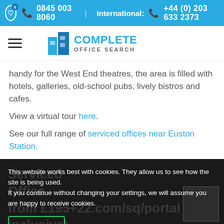0845 003 8060   International: +44 (0) 203 633 2373
[Figure (logo): Complete Office Search logo with blue building icon and text]
handy for the West End theatres, the area is filled with hotels, galleries, old-school pubs, lively bistros and cafes.
View a virtual tour here.
See our full range of serviced offices near Euston Station.
This website works best with cookies. They allow us to see how the site is being used.
If you continue without changing your settings, we will assume you are happy to receive cookies.
Amenities